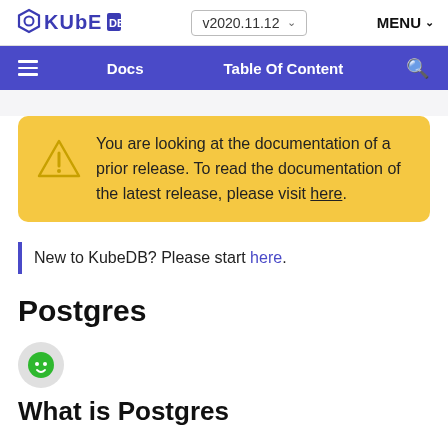KubeDB v2020.11.12 MENU
Docs  Table Of Content
You are looking at the documentation of a prior release. To read the documentation of the latest release, please visit here.
New to KubeDB? Please start here.
Postgres
What is Postgres